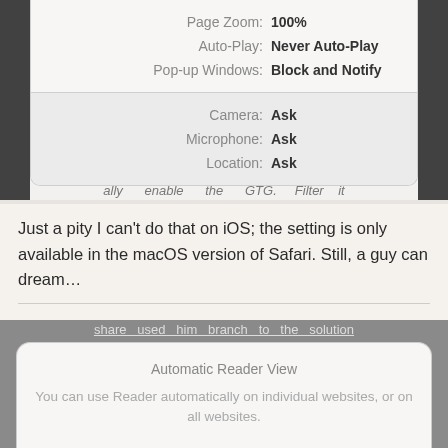[Figure (screenshot): macOS Safari website settings panel showing Page Zoom: 100%, Auto-Play: Never Auto-Play, Pop-up Windows: Block and Notify, Camera: Ask, Microphone: Ask, Location: Ask]
Just a pity I can't do that on iOS; the setting is only available in the macOS version of Safari. Still, a guy can dream…
UPDATE: I was wrong! It is in fact possible to do the same thing on iOS; just hold down on the Reader Mode icon.
[Figure (screenshot): iOS Safari Automatic Reader View panel with text: 'Automatic Reader View — You can use Reader automatically on individual websites, or on all websites.']